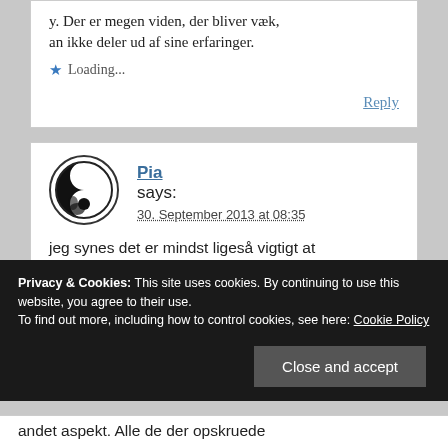y. Der er megen viden, der bliver væk, an ikke deler ud af sine erfaringer.
Loading...
Reply
Pia says:
30. September 2013 at 08:35
jeg synes det er mindst ligeså vigtigt at dele sine fejltagelser, og ikke kun sine
Privacy & Cookies: This site uses cookies. By continuing to use this website, you agree to their use. To find out more, including how to control cookies, see here: Cookie Policy
Close and accept
andet aspekt. Alle de der opskruede